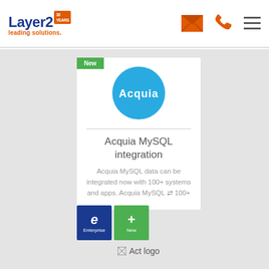Layer2 leading solutions. 30 YEARS
[Figure (logo): Layer2 leading solutions logo with 30 years badge and navigation icons (email, phone, hamburger menu)]
[Figure (logo): Acquia circular blue logo on white card with New green badge]
Acquia MySQL integration
Acquia MySQL data can be integrated now with 100+ systems and apps. Acquia MySQL ⇆ 100+
[Figure (logo): Enterprise blue badge with letter e and New green badge with plus sign]
[Figure (logo): Act logo placeholder image]